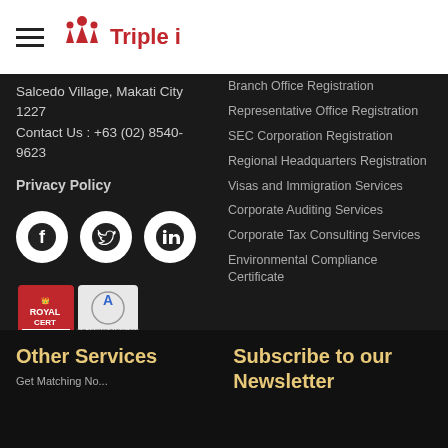Triple i
Salcedo Village, Makati City 1227
Contact Us : +63 (02) 8540-9623
Privacy Policy
[Figure (logo): Social media icons: Facebook, Twitter, LinkedIn (white icons on black circles)]
[Figure (logo): RoyalCert ISO 9001:2008 and accreditation certificate logos]
Branch Office Registration
Representative Office Registration
SEC Corporation Registration
Regional Headquarters Registration
Visas and Immigration Services
Corporate Auditing Services
Corporate Tax Consulting Services
Environmental Compliance Certificate
Other Services
Subscribe to our Newsletter